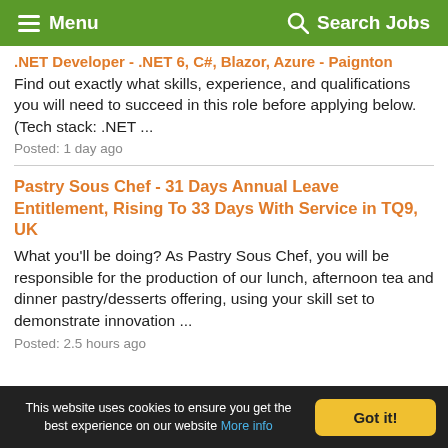Menu   Search Jobs
.NET Developer - .NET 6, C#, Blazor, Azure - Paignton
Find out exactly what skills, experience, and qualifications you will need to succeed in this role before applying below. (Tech stack: .NET ...
Posted: 1 day ago
Pastry Sous Chef - 31 Days Annual Leave Entitlement, Rising To 33 Days With Service in TQ9, UK
What you'll be doing? As Pastry Sous Chef, you will be responsible for the production of our lunch, afternoon tea and dinner pastry/desserts offering, using your skill set to demonstrate innovation ...
Posted: 2.5 hours ago
This website uses cookies to ensure you get the best experience on our website More info